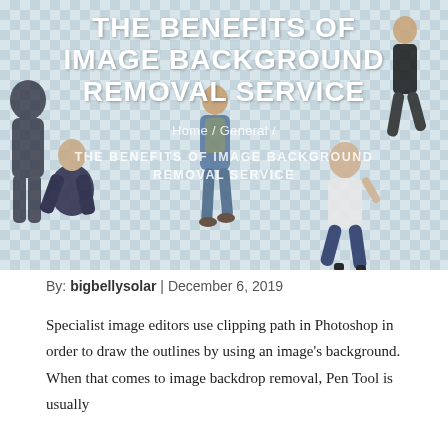[Figure (photo): Hero banner image showing people with backgrounds removed (transparent checker pattern) overlaid with large white bold title text 'THE BENEFITS OF IMAGE BACKGROUND REMOVAL SERVICE', breadcrumb navigation 'Home / General /', and subtitle 'THE BENEFITS OF IMAGE BACKGROUND REMOVAL SERVICE']
By: bigbellysolar | December 6, 2019
Specialist image editors use clipping path in Photoshop in order to draw the outlines by using an image's background. When that comes to image backdrop removal, Pen Tool is usually